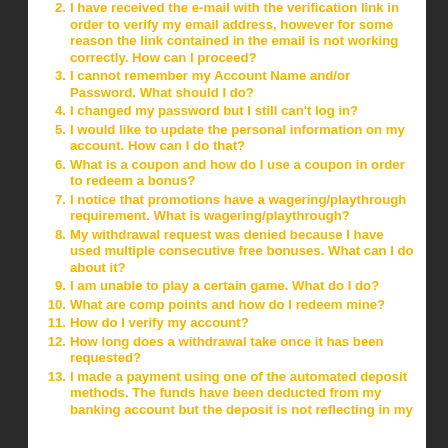2. I have received the e-mail with the verification link in order to verify my email address, however for some reason the link contained in the email is not working correctly. How can I proceed?
3. I cannot remember my Account Name and/or Password. What should I do?
4. I changed my password but I still can’t log in?
5. I would like to update the personal information on my account. How can I do that?
6. What is a coupon and how do I use a coupon in order to redeem a bonus?
7. I notice that promotions have a wagering/playthrough requirement. What is wagering/playthrough?
8. My withdrawal request was denied because I have used multiple consecutive free bonuses. What can I do about it?
9. I am unable to play a certain game. What do I do?
10. What are comp points and how do I redeem mine?
11. How do I verify my account?
12. How long does a withdrawal take once it has been requested?
13. I made a payment using one of the automated deposit methods. The funds have been deducted from my banking account but the deposit is not reflecting in my